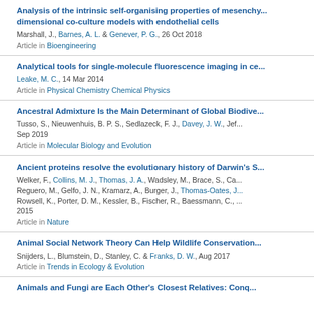Analysis of the intrinsic self-organising properties of mesenchymal stromal cells in three-dimensional co-culture models with endothelial cells
Marshall, J., Barnes, A. L. & Genever, P. G., 26 Oct 2018
Article in Bioengineering
Analytical tools for single-molecule fluorescence imaging in cells
Leake, M. C., 14 Mar 2014
Article in Physical Chemistry Chemical Physics
Ancestral Admixture Is the Main Determinant of Global Biodiversity
Tusso, S., Nieuwenhuis, B. P. S., Sedlazeck, F. J., Davey, J. W., Jef... Sep 2019
Article in Molecular Biology and Evolution
Ancient proteins resolve the evolutionary history of Darwin's S...
Welker, F., Collins, M. J., Thomas, J. A., Wadsley, M., Brace, S., Ca... Reguero, M., Gelfo, J. N., Kramarz, A., Burger, J., Thomas-Oates, J... Rowsell, K., Porter, D. M., Kessler, B., Fischer, R., Baessmann, C., ... 2015
Article in Nature
Animal Social Network Theory Can Help Wildlife Conservation
Snijders, L., Blumstein, D., Stanley, C. & Franks, D. W., Aug 2017
Article in Trends in Ecology & Evolution
Animals and Fungi are Each Other's Closest Relatives: Conq...